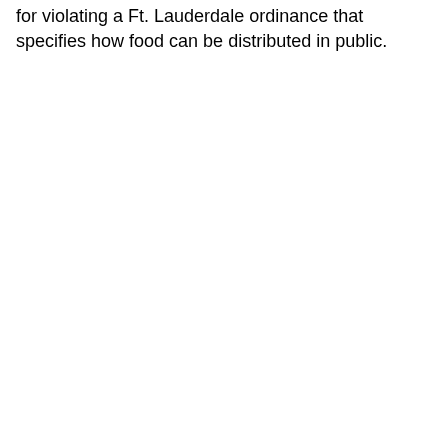for violating a Ft. Lauderdale ordinance that specifies how food can be distributed in public.